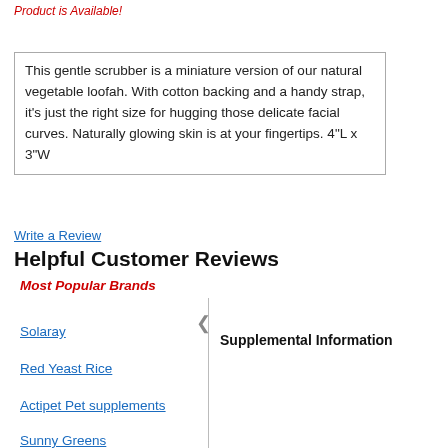Product is Available!
This gentle scrubber is a miniature version of our natural vegetable loofah. With cotton backing and a handy strap, it's just the right size for hugging those delicate facial curves. Naturally glowing skin is at your fingertips. 4"L x 3"W
Write a Review
Helpful Customer Reviews
Most Popular Brands
Solaray
Supplemental Information
Red Yeast Rice
Actipet Pet supplements
Sunny Greens